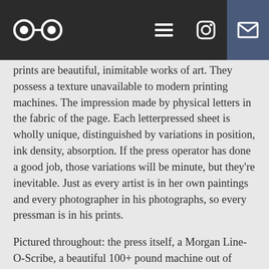[logo] [menu] [instagram] [email]
prints are beautiful, inimitable works of art. They possess a texture unavailable to modern printing machines. The impression made by physical letters in the fabric of the page. Each letterpressed sheet is wholly unique, distinguished by variations in position, ink density, absorption. If the press operator has done a good job, those variations will be minute, but they're inevitable. Just as every artist is in her own paintings and every photographer in his photographs, so every pressman is in his prints.
Pictured throughout: the press itself, a Morgan Line-O-Scribe, a beautiful 100+ pound machine out of Chicago known generally as a proof press, which means it's ideal for one print at a time operation but still reasonably suitable for short run production. The print is a portrait Stephen carved in lino of his father, for his